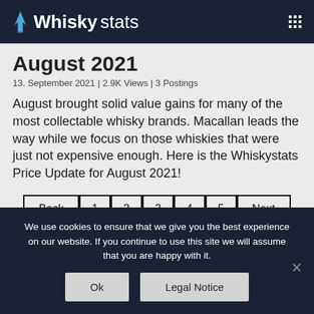WhiskyStats
August 2021
13. September 2021 | 2.9K Views | 3 Postings
August brought solid value gains for many of the most collectable whisky brands. Macallan leads the way while we focus on those whiskies that were just not expensive enough. Here is the Whiskystats Price Update for August 2021!
Back | 1 | 2 | 3 | 4 | 5 | Next
We use cookies to ensure that we give you the best experience on our website. If you continue to use this site we will assume that you are happy with it.
Ok | Legal Notice